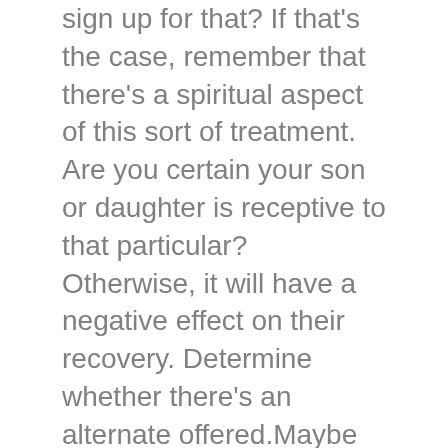sign up for that? If that's the case, remember that there's a spiritual aspect of this sort of treatment. Are you certain your son or daughter is receptive to that particular? Otherwise, it will have a negative effect on their recovery. Determine whether there's an alternate offered.Maybe there is allowances designed for the academic needs your child may have? Simply because your son or daughter is within teen drug rehab does not mean the amount ought to be sacrificed.How about their emotional needs? Can there be mental therapy offered? How frequently would your son or daughter consult counselor? What sort of goals would this therapy have?What sort of parental participation is inspired? What is the regular "Family Day?" Will the teen drug rehab facility provide support and encouragement for the whole family?
How lengthy will treatment last? Learn how lengthy the teen drug rehab treatment stay might last. Check it all...